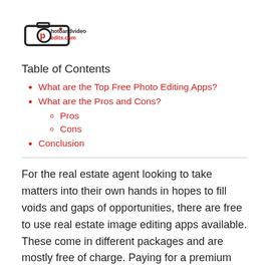[Figure (logo): PhotoandVideoEdits.com logo with camera icon. 'Photo' in black, 'andvideo' in black, 'edits.com' in red, with a stylized camera outline and red 'p' character.]
Table of Contents
What are the Top Free Photo Editing Apps?
What are the Pros and Cons?
Pros
Cons
Conclusion
For the real estate agent looking to take matters into their own hands in hopes to fill voids and gaps of opportunities, there are free to use real estate image editing apps available. These come in different packages and are mostly free of charge. Paying for a premium may enable access to more features and best of all they are